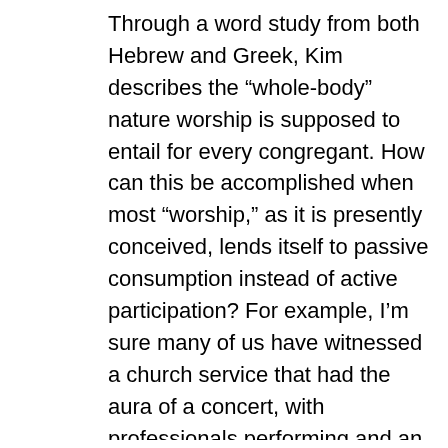Through a word study from both Hebrew and Greek, Kim describes the “whole-body” nature worship is supposed to entail for every congregant. How can this be accomplished when most “worship,” as it is presently conceived, lends itself to passive consumption instead of active participation? For example, I’m sure many of us have witnessed a church service that had the aura of a concert, with professionals performing and an audience listening. How can we help the church break out of this harmful pattern, with or without technology? It’s a good question we ought to consider.
Overall, I found in Analog Church a helpful critique of the often-naïve acceptance and adoption of technology in many churches (though there are perhaps even more churches who have uncritically rejected newer technologies as well,